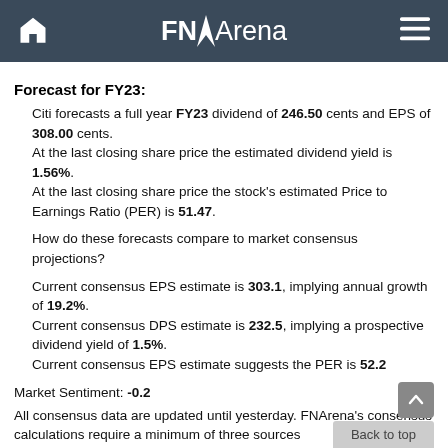FNArena
Forecast for FY23:
Citi forecasts a full year FY23 dividend of 246.50 cents and EPS of 308.00 cents.
At the last closing share price the estimated dividend yield is 1.56%.
At the last closing share price the stock's estimated Price to Earnings Ratio (PER) is 51.47.

How do these forecasts compare to market consensus projections?

Current consensus EPS estimate is 303.1, implying annual growth of 19.2%.
Current consensus DPS estimate is 232.5, implying a prospective dividend yield of 1.5%.
Current consensus EPS estimate suggests the PER is 52.2
Market Sentiment: -0.2
All consensus data are updated until yesterday. FNArena's consensus calculations require a minimum of three sources